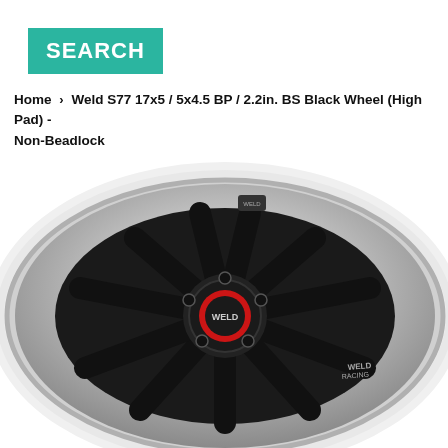SEARCH
Home › Weld S77 17x5 / 5x4.5 BP / 2.2in. BS Black Wheel (High Pad) - Non-Beadlock
[Figure (photo): A Weld S77 black wheel with polished lip and multi-spoke design, WELD center cap visible, shown at an angle on a white background.]